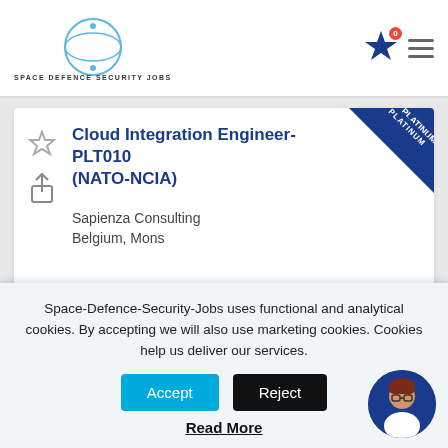SPACE DEFENCE SECURITY JOBS
Cloud Integration Engineer-PLT010 (NATO-NCIA)
Sapienza Consulting
Belgium, Mons
Software Developer
Space-Defence-Security-Jobs uses functional and analytical cookies. By accepting we will also use marketing cookies. Cookies help us deliver our services.
Accept
Reject
Read More